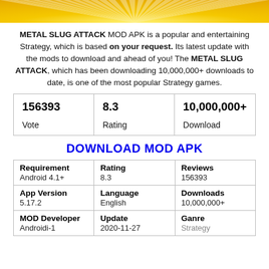[Figure (illustration): Golden sunburst banner image at the top of the page]
METAL SLUG ATTACK MOD APK is a popular and entertaining Strategy, which is based on your request. Its latest update with the mods to download and ahead of you! The METAL SLUG ATTACK, which has been downloading 10,000,000+ downloads to date, is one of the most popular Strategy games.
| Vote | Rating | Download |
| --- | --- | --- |
| 156393 | 8.3 | 10,000,000+ |
DOWNLOAD MOD APK
| Requirement | Rating | Reviews | App Version | Language | Downloads | MOD Developer | Update | Ganre |
| --- | --- | --- | --- | --- | --- | --- | --- | --- |
| Android 4.1+ | 8.3 | 156393 |
| 5.17.2 | English | 10,000,000+ |
| Androidi-1 | 2020-11-27 | Strategy |